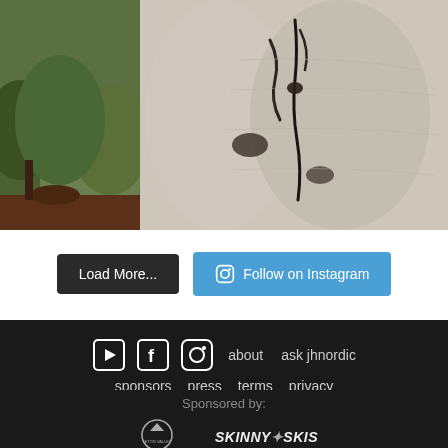[Figure (photo): Two side-by-side photos: left shows green foliage/plants with soil, right shows close-up of aspen or birch tree bark with dark markings]
Load More...
Follow on Instagram
about  ask jhnordic  sponsors  press  terms  privacy  signup for our newsletter
Sponsored by:
[Figure (logo): Teton Valley logo (circular badge)]
[Figure (logo): Skinny Skis logo text]